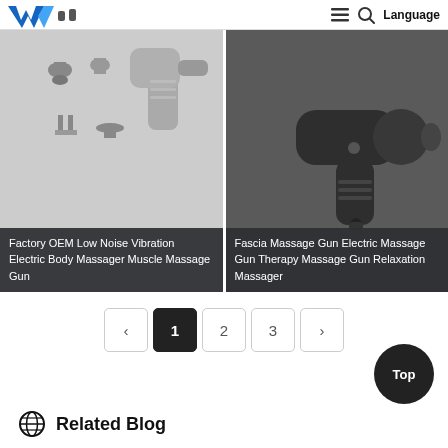W [logo] | Language
[Figure (photo): Factory OEM Low Noise Vibration Electric Body Massager Muscle Massage Gun - light gray massager with attachments]
Factory OEM Low Noise Vibration Electric Body Massager Muscle Massage Gun
[Figure (photo): Fascia Massage Gun Electric Massage Gun Therapy Massage Gun Relaxation Massager - dark gray/black massager gun]
Fascia Massage Gun Electric Massage Gun Therapy Massage Gun Relaxation Massager
‹ 1 2 3 ›
Top
Related Blog